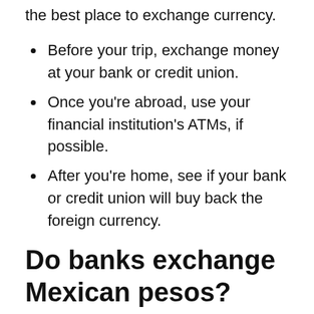Your bank or credit union is almost always the best place to exchange currency.
Before your trip, exchange money at your bank or credit union.
Once you're abroad, use your financial institution's ATMs, if possible.
After you're home, see if your bank or credit union will buy back the foreign currency.
Do banks exchange Mexican pesos?
You can buy pesos with dollars at major banks like Wells Fargo and Bank of America. You will need to be a bank customer already and can order it online easily. Currency